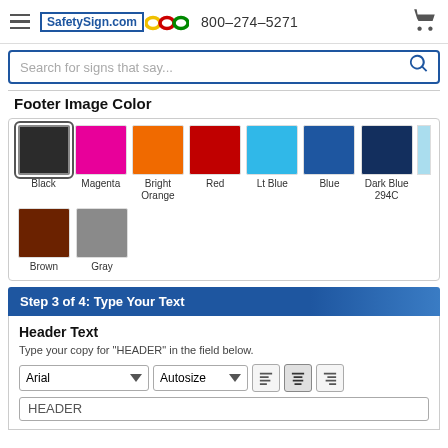SafetySign.com 800-274-5271
Footer Image Color
[Figure (infographic): Color swatches for footer image color selection: Black (selected), Magenta, Bright Orange, Red, Lt Blue, Blue, Dark Blue 294C, (partial light blue), Brown, Gray]
Step 3 of 4: Type Your Text
Header Text
Type your copy for "HEADER" in the field below.
Arial | Autosize | alignment controls
HEADER